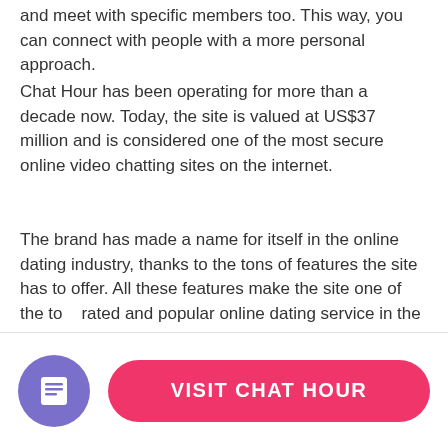and meet with specific members too. This way, you can connect with people with a more personal approach.
Chat Hour has been operating for more than a decade now. Today, the site is valued at US$37 million and is considered one of the most secure online video chatting sites on the internet.
The brand has made a name for itself in the online dating industry, thanks to the tons of features the site has to offer. All these features make the site one of the to rated and popular online dating service in the industry today. Since its inception, Chat Hour has only r d up the graph and is quite a renowned dating p al today.
[Figure (other): Purple circular icon with document/list symbol, and a pink rounded-rectangle button labeled VISIT CHAT HOUR]